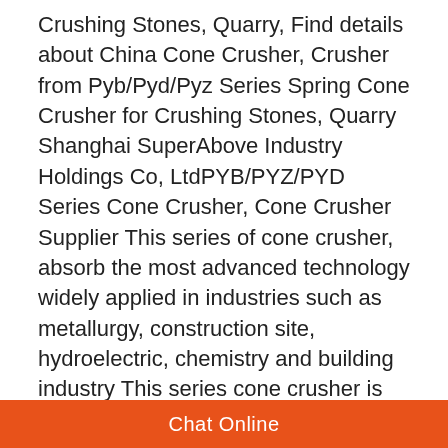Crushing Stones, Quarry, Find details about China Cone Crusher, Crusher from Pyb/Pyd/Pyz Series Spring Cone Crusher for Crushing Stones, Quarry Shanghai SuperAbove Industry Holdings Co, LtdPYB/PYZ/PYD Series Cone Crusher, Cone Crusher Supplier This series of cone crusher, absorb the most advanced technology widely applied in industries such as metallurgy, construction site, hydroelectric, chemistry and building industry This series cone crusher is intended for crushing bulk materials with medium or aboveget price Pyb900 Spring Cone Crusher For Basalt,Quartz,Iron OrePyb Pyd Pyz Series cone crusher For Rock and OresPyd Pyz Series Cone Crusher Create a globally renowned mining machine brand leimeng machinery specializes in rd and manufacturing of large crushing and screening equipment cone crusher impact crusher impact crusher jaw crusher sand washer vibrating screen feeder belt conveyor and
[Figure (other): Live chat widget with red circular icon and dark background showing 'Chat Now' label]
Chat Online